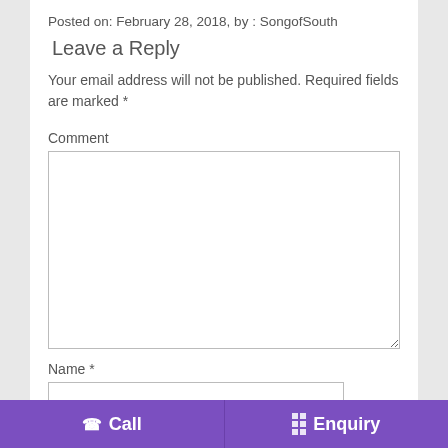Posted on: February 28, 2018, by : SongofSouth
Leave a Reply
Your email address will not be published. Required fields are marked *
Comment
Name *
☎ Call    ⊞ Enquiry